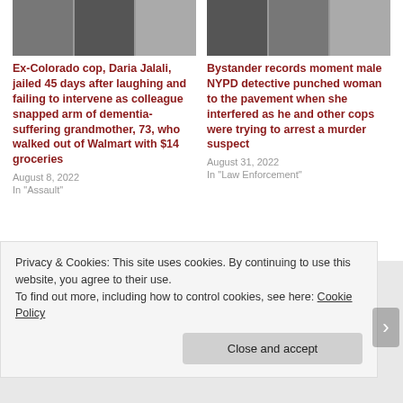[Figure (photo): Thumbnail images for article about Ex-Colorado cop Daria Jalali]
Ex-Colorado cop, Daria Jalali, jailed 45 days after laughing and failing to intervene as colleague snapped arm of dementia-suffering grandmother, 73, who walked out of Walmart with $14 groceries
August 8, 2022
In "Assault"
[Figure (photo): Thumbnail images for article about NYPD detective punching woman]
Bystander records moment male NYPD detective punched woman to the pavement when she interfered as he and other cops were trying to arrest a murder suspect
August 31, 2022
In "Law Enforcement"
Privacy & Cookies: This site uses cookies. By continuing to use this website, you agree to their use.
To find out more, including how to control cookies, see here: Cookie Policy